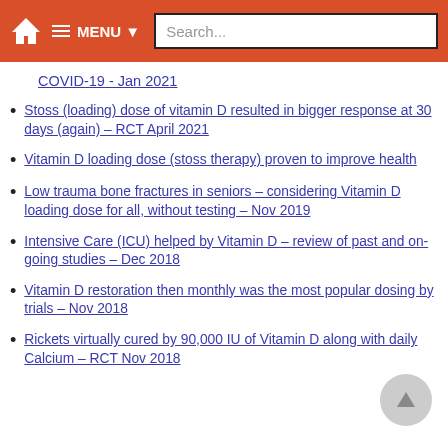MENU Search...
COVID-19 - Jan 2021
Stoss (loading) dose of vitamin D resulted in bigger response at 30 days (again) – RCT April 2021
Vitamin D loading dose (stoss therapy) proven to improve health
Low trauma bone fractures in seniors – considering Vitamin D loading dose for all, without testing – Nov 2019
Intensive Care (ICU) helped by Vitamin D – review of past and on-going studies – Dec 2018
Vitamin D restoration then monthly was the most popular dosing by trials – Nov 2018
Rickets virtually cured by 90,000 IU of Vitamin D along with daily Calcium – RCT Nov 2018